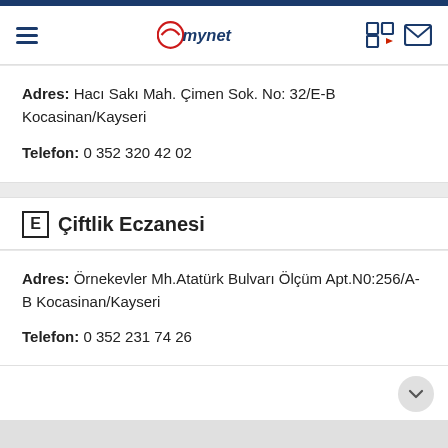mynet
Adres: Hacı Sakı Mah. Çimen Sok. No: 32/E-B Kocasinan/Kayseri
Telefon: 0 352 320 42 02
E Çiftlik Eczanesi
Adres: Örnekevler Mh.Atatürk Bulvarı Ölçüm Apt.N0:256/A-B Kocasinan/Kayseri
Telefon: 0 352 231 74 26